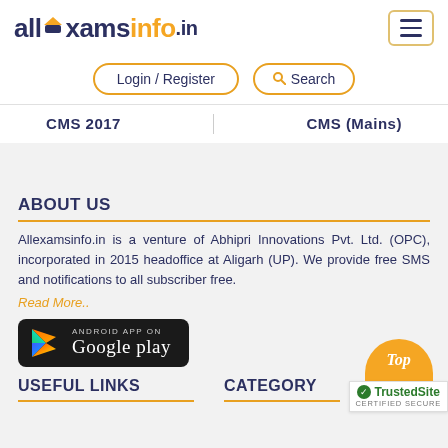allexamsinfo.in
Login / Register
Search
CMS 2017   CMS (Mains)
ABOUT US
Allexamsinfo.in is a venture of Abhipri Innovations Pvt. Ltd. (OPC), incorporated in 2015 headoffice at Aligarh (UP). We provide free SMS and notifications to all subscriber free. Read More..
[Figure (logo): Google Play store badge - Android app on Google play]
USEFUL LINKS
CATEGORY
[Figure (logo): TrustedSite certified secure badge with Top label]